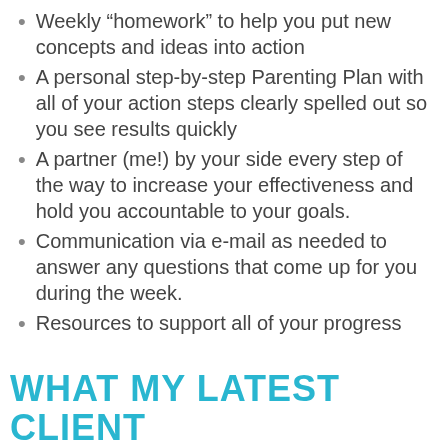Weekly “homework” to help you put new concepts and ideas into action
A personal step-by-step Parenting Plan with all of your action steps clearly spelled out so you see results quickly
A partner (me!) by your side every step of the way to increase your effectiveness and hold you accountable to your goals.
Communication via e-mail as needed to answer any questions that come up for you during the week.
Resources to support all of your progress
WHAT MY LATEST CLIENT